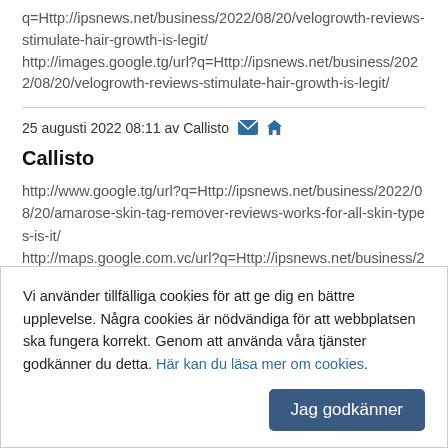q=Http://ipsnews.net/business/2022/08/20/velogrowth-reviews-stimulate-hair-growth-is-legit/
http://images.google.tg/url?q=Http://ipsnews.net/business/2022/08/20/velogrowth-reviews-stimulate-hair-growth-is-legit/
25 augusti 2022 08:11 av Callisto
Callisto
http://www.google.tg/url?q=Http://ipsnews.net/business/2022/08/20/amarose-skin-tag-remover-reviews-works-for-all-skin-types-is-it/
http://maps.google.com.vc/url?q=Http://ipsnews.net/business/2022/08/20/amarose-skin-tag-remover-reviews-works-for-all-skin-types-is-it/
Vi använder tillfälliga cookies för att ge dig en bättre upplevelse. Några cookies är nödvändiga för att webbplatsen ska fungera korrekt. Genom att använda våra tjänster godkänner du detta. Här kan du läsa mer om cookies.
Jag godkänner